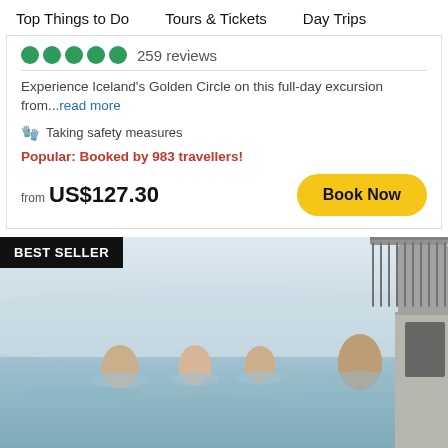Top Things to Do   Tours & Tickets   Day Trips
259 reviews
Experience Iceland's Golden Circle on this full-day excursion from...read more
Taking safety measures
Popular: Booked by 983 travellers!
from US$127.30
[Figure (photo): People relaxing in a geothermal pool (infinity pool) in Iceland with misty blue water and a modern canopy structure in the background. Badge overlay reads BEST SELLER.]